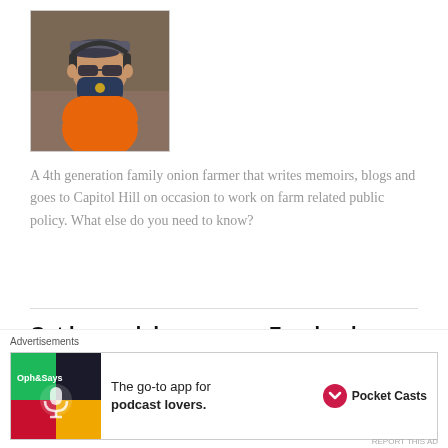[Figure (photo): Profile photo of a man wearing an orange tank top, face mask, sunglasses, and a cap with headphones]
A 4th generation family onion farmer that writes memoirs, blogs and goes to Capitol Hill on occasion to work on farm related public policy. What else do you need to know?
Get bogged down on my Facebook page
Christopher Pawelski | Create Your Badge
[Figure (logo): Facebook logo icon (blue square with white f)]
[Figure (screenshot): Advertisement: Pocket Casts - The go-to app for podcast lovers]